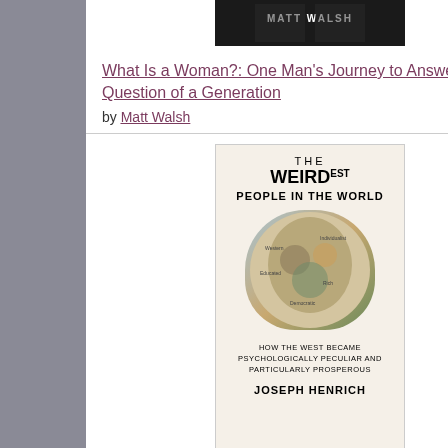[Figure (photo): Book cover of What Is a Woman by Matt Walsh showing two men in suits]
What Is a Woman?: One Man's Journey to Answer the Question of a Generation
by Matt Walsh
[Figure (photo): Book cover of The WEIRDest People in the World by Joseph Henrich - cream background with head illustration]
The WEIRDest People in the World: How the West Became Psychologically Peculiar and Particularly Prosperous
by Joseph Henrich
[Figure (photo): Book cover showing PRO text with a red circle-slash prohibition symbol over the O]